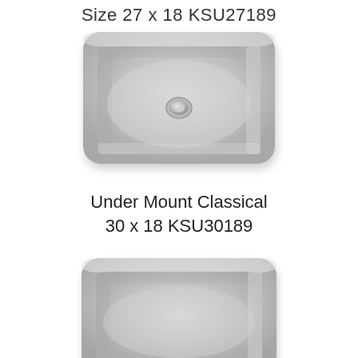Size 27 x 18 KSU27189
[Figure (photo): Stainless steel under mount classical single basin kitchen sink, top-down perspective, with center drain hole visible, size 27 x 18]
Under Mount Classical
30 x 18 KSU30189
[Figure (photo): Stainless steel under mount classical single basin kitchen sink, partial view from top-down perspective, size 30 x 18]